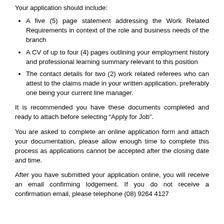Your application should include:
A five (5) page statement addressing the Work Related Requirements in context of the role and business needs of the branch
A CV of up to four (4) pages outlining your employment history and professional learning summary relevant to this position
The contact details for two (2) work related referees who can attest to the claims made in your written application, preferably one being your current line manager.
It is recommended you have these documents completed and ready to attach before selecting “Apply for Job”.
You are asked to complete an online application form and attach your documentation, please allow enough time to complete this process as applications cannot be accepted after the closing date and time.
After you have submitted your application online, you will receive an email confirming lodgement. If you do not receive a confirmation email, please telephone (08) 9264 4127